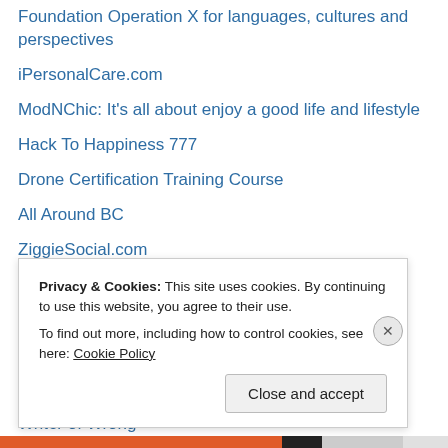Foundation Operation X for languages, cultures and perspectives
iPersonalCare.com
ModNChic: It's all about enjoy a good life and lifestyle
Hack To Happiness 777
Drone Certification Training Course
All Around BC
ZiggieSocial.com
EDUPLANET
All About Pigeons
daily knowledge
Hobo Movie
Writer of Wrong
Actually Autistic Blogs List
Privacy & Cookies: This site uses cookies. By continuing to use this website, you agree to their use. To find out more, including how to control cookies, see here: Cookie Policy
Close and accept